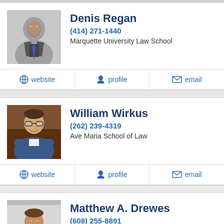[Figure (photo): Headshot of Denis Regan, older bald man in suit]
Denis Regan
(414) 271-1440
Marquette University Law School
website | profile | email
[Figure (photo): Headshot of William Wirkus, younger man in jacket with arms crossed]
William Wirkus
(262) 239-4319
Ave Maria School of Law
website | profile | email
[Figure (photo): Headshot of Matthew A. Drewes, man in suit smiling]
Matthew A. Drewes
(608) 255-8891
University of Minnesota Law School